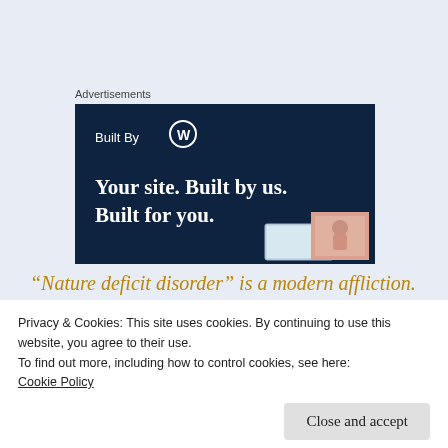Advertisements
[Figure (illustration): WordPress 'Built By WP' advertisement banner with dark navy background. Shows 'Built By' with WordPress logo, and headline 'Your site. Built by us. Built for you.' with a small website screenshot thumbnail in bottom right corner.]
“Nature deficit disorder” is a modern affliction.
Privacy & Cookies: This site uses cookies. By continuing to use this website, you agree to their use.
To find out more, including how to control cookies, see here:
Cookie Policy
Close and accept
adults alike.